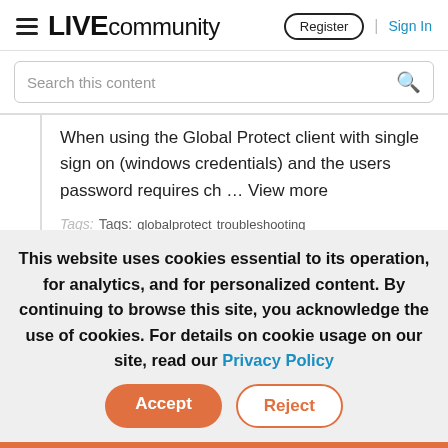LIVE community | Register | Sign In
Search this content
When using the Global Protect client with single sign on (windows credentials) and the users password requires ch … View more
Tags: Tags: globalprotect  troubleshooting
This website uses cookies essential to its operation, for analytics, and for personalized content. By continuing to browse this site, you acknowledge the use of cookies. For details on cookie usage on our site, read our Privacy Policy
Accept
Reject